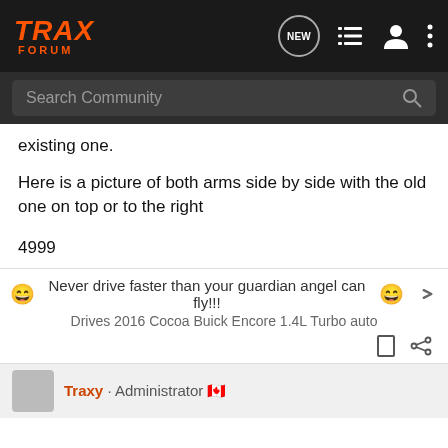[Figure (screenshot): Trax Forum navigation bar with logo, NEW bubble icon, list icon, user icon, and three-dots menu icon on dark background]
[Figure (screenshot): Search Community search bar on dark gray background]
existing one.
Here is a picture of both arms side by side with the old one on top or to the right
4999
😄 Never drive faster than your guardian angel can fly!!! 😄
Drives 2016 Cocoa Buick Encore 1.4L Turbo auto
Traxy · Administrator 🇨🇦